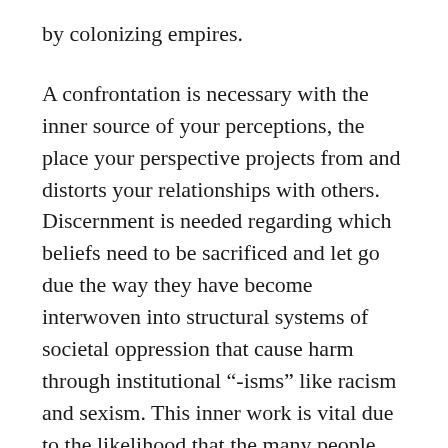by colonizing empires.
A confrontation is necessary with the inner source of your perceptions, the place your perspective projects from and distorts your relationships with others. Discernment is needed regarding which beliefs need to be sacrificed and let go due the way they have become interwoven into structural systems of societal oppression that cause harm through institutional “-isms” like racism and sexism. This inner work is vital due to the likelihood that the many people unwilling to do this inner work will only have their dogmatic and self-righteous beliefs reinforced and amplified in reaction to the web of events unleashed by the eclipses in the next couple of months